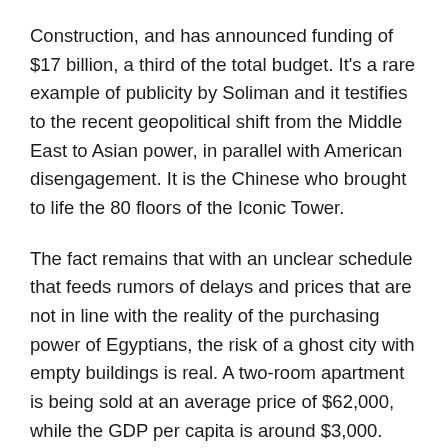Construction, and has announced funding of $17 billion, a third of the total budget. It's a rare example of publicity by Soliman and it testifies to the recent geopolitical shift from the Middle East to Asian power, in parallel with American disengagement. It is the Chinese who brought to life the 80 floors of the Iconic Tower.
The fact remains that with an unclear schedule that feeds rumors of delays and prices that are not in line with the reality of the purchasing power of Egyptians, the risk of a ghost city with empty buildings is real. A two-room apartment is being sold at an average price of $62,000, while the GDP per capita is around $3,000. The sudden inflation of the offer pushes the agencies to propose sometimes fanciful financing plans to sell the lots and attract the middle class.